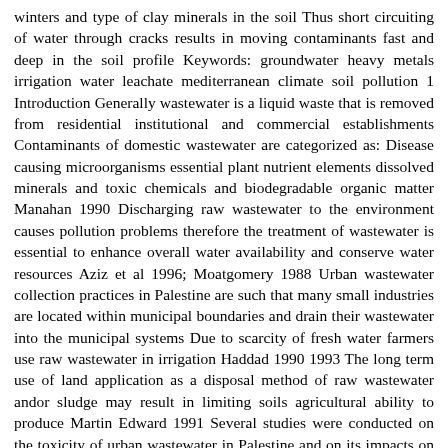winters and type of clay minerals in the soil Thus short circuiting of water through cracks results in moving contaminants fast and deep in the soil profile Keywords: groundwater heavy metals irrigation water leachate mediterranean climate soil pollution 1 Introduction Generally wastewater is a liquid waste that is removed from residential institutional and commercial establishments Contaminants of domestic wastewater are categorized as: Disease causing microorganisms essential plant nutrient elements dissolved minerals and toxic chemicals and biodegradable organic matter Manahan 1990 Discharging raw wastewater to the environment causes pollution problems therefore the treatment of wastewater is essential to enhance overall water availability and conserve water resources Aziz et al 1996; Moatgomery 1988 Urban wastewater collection practices in Palestine are such that many small industries are located within municipal boundaries and drain their wastewater into the municipal systems Due to scarcity of fresh water farmers use raw wastewater in irrigation Haddad 1990 1993 The long term use of land application as a disposal method of raw wastewater andor sludge may result in limiting soils agricultural ability to produce Martin Edward 1991 Several studies were conducted on the toxicity of urban wastewater in Palestine and on its impacts on groundwater plants and soils Haddad 1994; Radi et al 1988; Environmental Protection 2000; Haddad 2000 The reported heavy metal concentrations of wastewater in Palestine range from 0 to 2075 mg